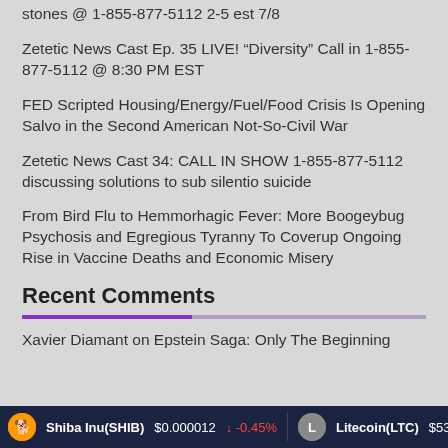stones @ 1-855-877-5112 2-5 est 7/8
Zetetic News Cast Ep. 35 LIVE! “Diversity” Call in 1-855-877-5112 @ 8:30 PM EST
FED Scripted Housing/Energy/Fuel/Food Crisis Is Opening Salvo in the Second American Not-So-Civil War
Zetetic News Cast 34: CALL IN SHOW 1-855-877-5112 discussing solutions to sub silentio suicide
From Bird Flu to Hemmorhagic Fever: More Boogeybug Psychosis and Egregious Tyranny To Coverup Ongoing Rise in Vaccine Deaths and Economic Misery
Recent Comments
Xavier Diamant on Epstein Saga: Only The Beginning
Shiba Inu(SHIB) $0.000012 ↓ -0.45%    Litecoin(LTC) $53.86